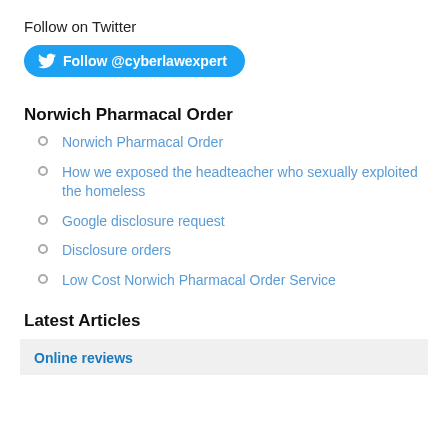Follow on Twitter
[Figure (other): Twitter follow button: Follow @cyberlawexpert]
Norwich Pharmacal Order
Norwich Pharmacal Order
How we exposed the headteacher who sexually exploited the homeless
Google disclosure request
Disclosure orders
Low Cost Norwich Pharmacal Order Service
Latest Articles
Online reviews